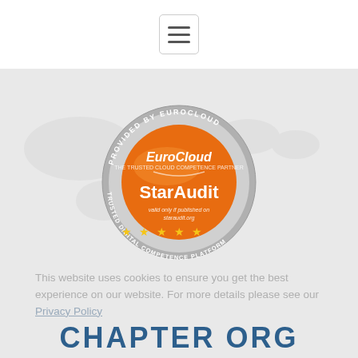☰ (hamburger menu icon)
[Figure (logo): EuroCloud StarAudit badge — a circular grey metallic seal with orange center. Text around the top arc reads 'PROVIDED BY EUROCLOUD', bottom arc reads 'TRUSTED DIGITAL COMPETENCE PLATFORM'. Center contains orange circle with EuroCloud logo, 'StarAudit' in white bold text, small italic text 'valid only if published on staraudit.org', and five gold stars. Background shows faint world map watermark.]
This website uses cookies to ensure you get the best experience on our website. For more details please see our Privacy Policy
CHAPTER ORG
Revoke
Accept